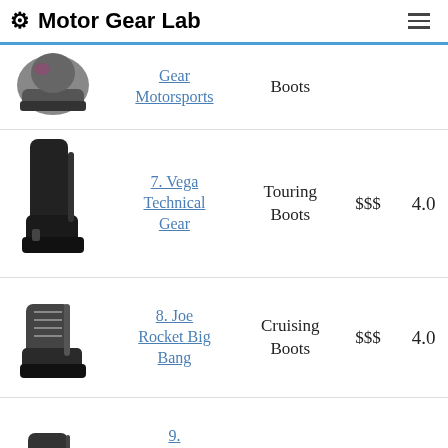Motor Gear Lab
| Image | Name | Type | Price | Score |
| --- | --- | --- | --- | --- |
| [boot image] | Gear Motorsports | Boots |  |  |
| [boot image] | 7. Vega Technical Gear | Touring Boots | $$$ | 4.0 |
| [boot image] | 8. Joe Rocket Big Bang | Cruising Boots | $$$ | 4.0 |
| [boot image] | 9. Milwaukee Leather Harness | Cruising Boots | $$$$ | 3.7 |